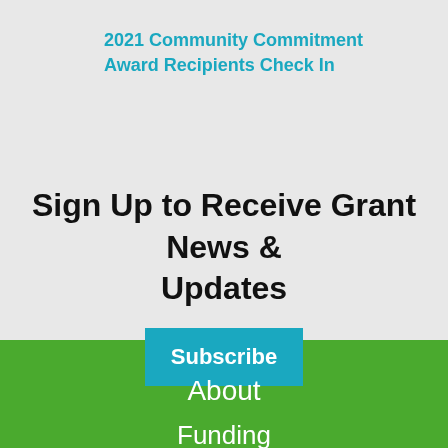2021 Community Commitment Award Recipients Check In
Sign Up to Receive Grant News & Updates
Subscribe
About
Funding